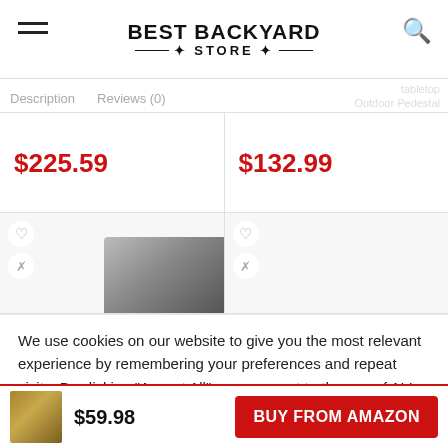BEST BACKYARD STORE
Description   Reviews (0)
$225.59
$132.99
We use cookies on our website to give you the most relevant experience by remembering your preferences and repeat visits. By clicking "Accept All", you consent to the use of ALL the cookies. However, you may visit "Cookie Settings" to provide a controlled consent.
$59.98
BUY FROM AMAZON